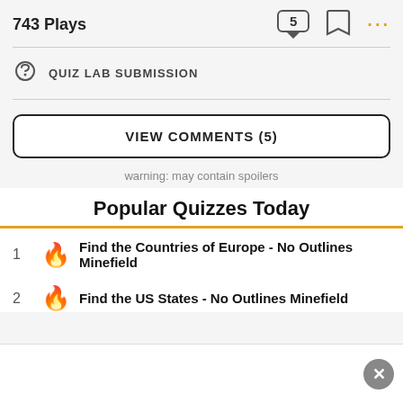743 Plays
QUIZ LAB SUBMISSION
VIEW COMMENTS (5)
warning: may contain spoilers
Popular Quizzes Today
1  Find the Countries of Europe - No Outlines Minefield
2  Find the US States - No Outlines Minefield